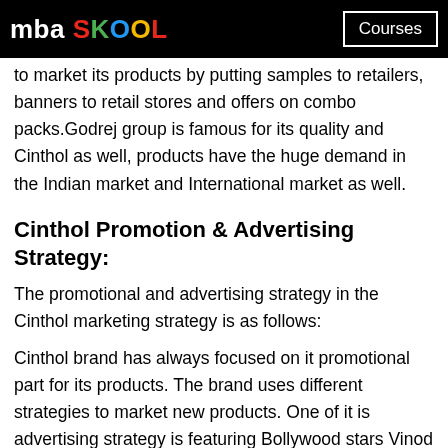mba SKOOL | Courses
to market its products by putting samples to retailers, banners to retail stores and offers on combo packs.Godrej group is famous for its quality and Cinthol as well, products have the huge demand in the Indian market and International market as well.
Cinthol Promotion & Advertising Strategy:
The promotional and advertising strategy in the Cinthol marketing strategy is as follows:
Cinthol brand has always focused on it promotional part for its products. The brand uses different strategies to market new products. One of it is advertising strategy is featuring Bollywood stars Vinod Khanna, Hrithik Roshan and sports player like Virat Kohli on popular TV channels. Cinthol branding and marketing have extensively planned for their